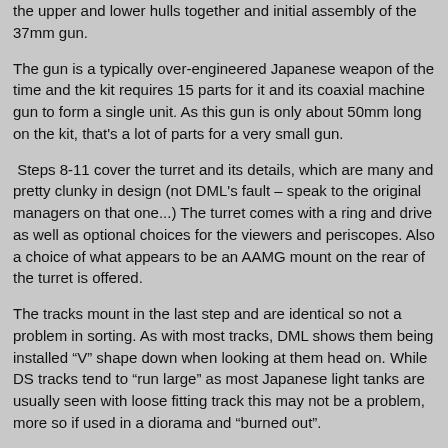the upper and lower hulls together and initial assembly of the 37mm gun.
The gun is a typically over-engineered Japanese weapon of the time and the kit requires 15 parts for it and its coaxial machine gun to form a single unit. As this gun is only about 50mm long on the kit, that's a lot of parts for a very small gun.
Steps 8-11 cover the turret and its details, which are many and pretty clunky in design (not DML's fault – speak to the original managers on that one...) The turret comes with a ring and drive as well as optional choices for the viewers and periscopes. Also a choice of what appears to be an AAMG mount on the rear of the turret is offered.
The tracks mount in the last step and are identical so not a problem in sorting. As with most tracks, DML shows them being installed "V" shape down when looking at them head on. While DS tracks tend to “run large” as most Japanese light tanks are usually seen with loose fitting track this may not be a problem, more so if used in a diorama and “burned out”.
Technical work is credited to Hirohisa Takada and Shin Okada.